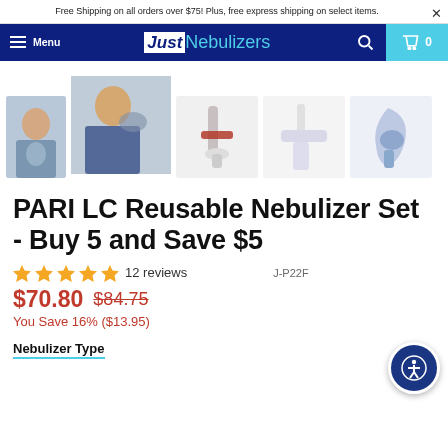Free Shipping on all orders over $75! Plus, free express shipping on select items.
[Figure (screenshot): JustNebulizers navigation bar with hamburger menu, logo, search icon, and cart showing 0 items]
[Figure (photo): Row of 5 product thumbnail images for PARI LC Reusable Nebulizer Set: two photos of people using nebulizers, three product-only shots from different angles]
PARI LC Reusable Nebulizer Set - Buy 5 and Save $5
★★★★★ 12 reviews   J-P22F
$70.80  $84.75
You Save 16% ($13.95)
Nebulizer Type